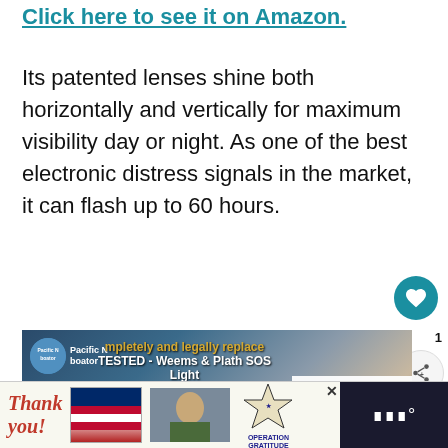Click here to see it on Amazon.
Its patented lenses shine both horizontally and vertically for maximum visibility day or night. As one of the best electronic distress signals in the market, it can flash up to 60 hours.
[Figure (screenshot): YouTube video thumbnail showing 'TESTED - Weems & Plath SOS Light' from Pacific NW boater channel, with text 'completely and legally replace all pyrotechnic flares!' overlaid on background of marine equipment. WHAT'S NEXT panel shows '16 Things to Have on a...']
[Figure (photo): Advertisement banner: 'Thank you!' text with American flag design and military personnel photo, Operation Gratitude logo with star emblem on right side.]